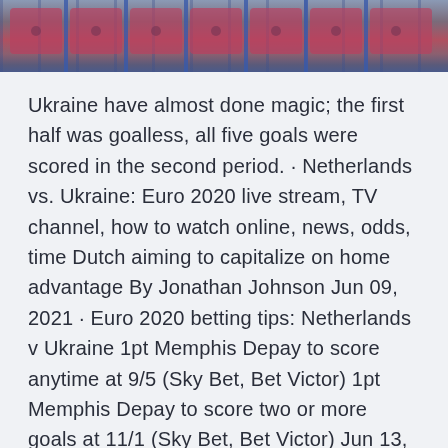[Figure (photo): Partial view of red stadium/venue chairs with blue metal frames, cropped at top of page]
Ukraine have almost done magic; the first half was goalless, all five goals were scored in the second period. · Netherlands vs. Ukraine: Euro 2020 live stream, TV channel, how to watch online, news, odds, time Dutch aiming to capitalize on home advantage By Jonathan Johnson Jun 09, 2021 · Euro 2020 betting tips: Netherlands v Ukraine 1pt Memphis Depay to score anytime at 9/5 (Sky Bet, Bet Victor) 1pt Memphis Depay to score two or more goals at 11/1 (Sky Bet, Bet Victor) Jun 13, 2021 · The Netherlands play their first match of UEFA Euro 2020 this weekend as they lock horns with Ukraine in a Group C fixture at the Amsterdam Arena on Sunday. The Dutch have an impressive squad and... A comprehensive look at Euro...